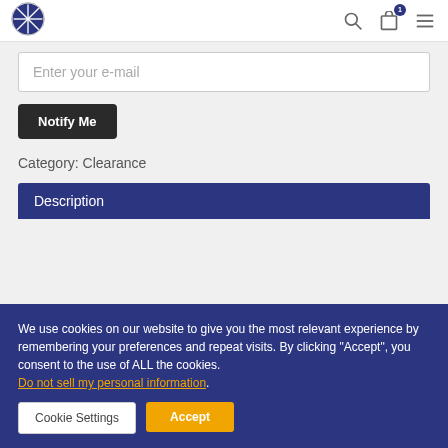Navigation header with logo and icons
Enter your e-mail
Notify Me
Category: Clearance
Description
We use cookies on our website to give you the most relevant experience by remembering your preferences and repeat visits. By clicking “Accept”, you consent to the use of ALL the cookies. Do not sell my personal information.
Cookie Settings
Accept